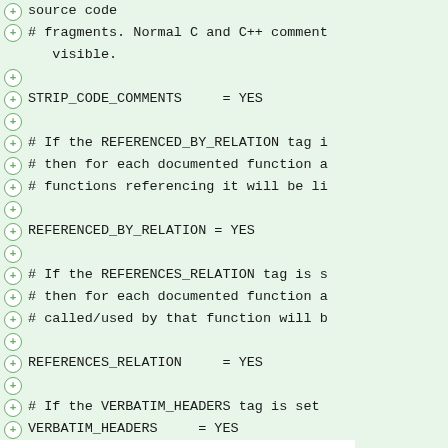source code
# fragments. Normal C and C++ comments visible.
STRIP_CODE_COMMENTS     = YES
# If the REFERENCED_BY_RELATION tag i
# then for each documented function a
# functions referencing it will be li
REFERENCED_BY_RELATION = YES
# If the REFERENCES_RELATION tag is s
# then for each documented function a
# called/used by that function will b
REFERENCES_RELATION     = YES
# If the VERBATIM_HEADERS tag is set Doxygen
# will generate a verbatim copy of th class for
# which an include is specified. Set
VERBATIM_HEADERS     = YES